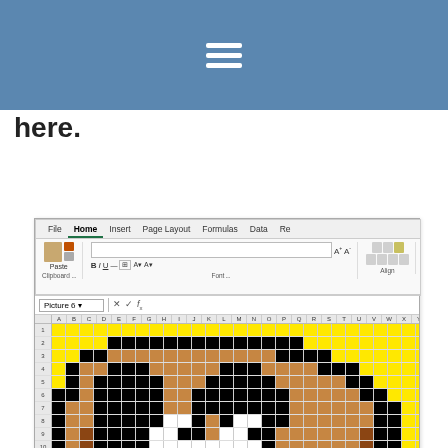here.
[Figure (screenshot): Screenshot of Microsoft Excel showing a pixel art monkey face emoji made from colored cells. The ribbon shows Home tab active with Clipboard, Font, and Alignment groups. Formula bar shows 'Picture 6'. The spreadsheet contains a pixel art of a monkey emoji face with yellow background, black outline, brown face features, white and black eyes, and a red tongue.]